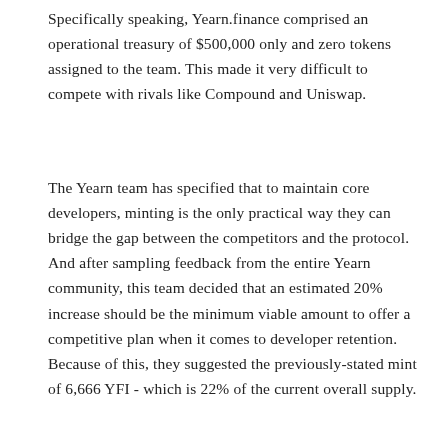Specifically speaking, Yearn.finance comprised an operational treasury of $500,000 only and zero tokens assigned to the team. This made it very difficult to compete with rivals like Compound and Uniswap.
The Yearn team has specified that to maintain core developers, minting is the only practical way they can bridge the gap between the competitors and the protocol. And after sampling feedback from the entire Yearn community, this team decided that an estimated 20% increase should be the minimum viable amount to offer a competitive plan when it comes to developer retention. Because of this, they suggested the previously-stated mint of 6,666 YFI - which is 22% of the current overall supply.